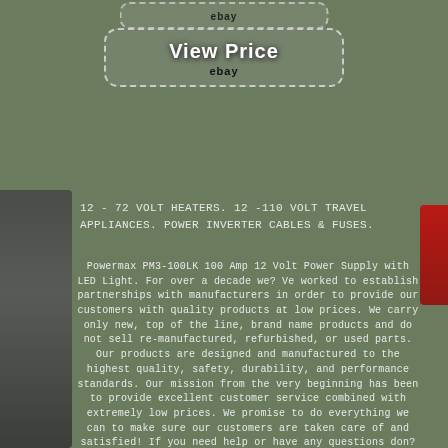[Figure (screenshot): eBay button at top with dotted border]
[Figure (screenshot): View Price eBay button with dotted rounded border]
12 - 72 VOLT HEATERS. 12 -110 VOLT TRAVEL APPLIANCES. POWER INVERTER CABLES & FUSES.
Powermax PM3-100LK 100 Amp 12 Volt Power Supply with LED Light. For over a decade we? Ve worked to establish partnerships with manufacturers in order to provide our customers with quality products at low prices. We carry only new, top of the line, brand name products and do not sell re-manufactured, refurbished, or used parts. Our products are designed and manufactured to the highest quality, safety, durability, and performance standards. Our mission from the very beginning has been to provide excellent customer service combined with extremely low prices. We promise to do everything we can to make sure our customers are taken care of and satisfied! If you need help or have any questions don? We accept online orders 24/7. UPS does not deliver to a P.